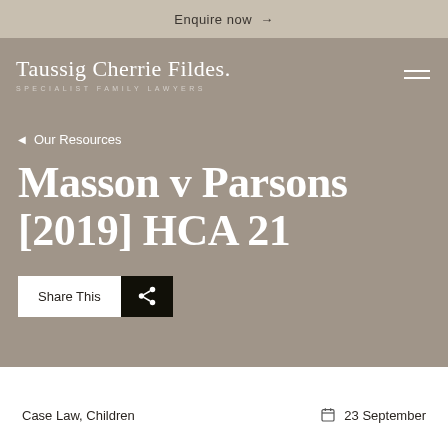Enquire now →
[Figure (logo): Taussig Cherrie Fildes. Specialist Family Lawyers logo with hamburger menu icon]
◄ Our Resources
Masson v Parsons [2019] HCA 21
Share This
Case Law, Children   23 September